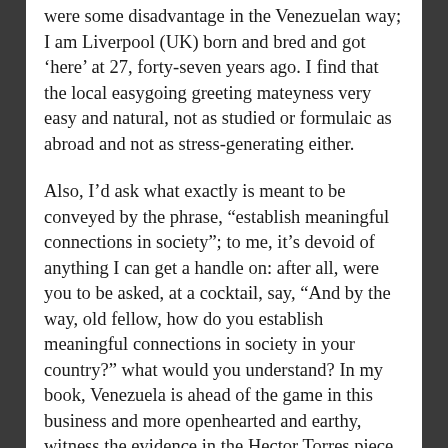were some disadvantage in the Venezuelan way; I am Liverpool (UK) born and bred and got 'here' at 27, forty-seven years ago. I find that the local easygoing greeting mateyness very easy and natural, not as studied or formulaic as abroad and not as stress-generating either.
Also, I'd ask what exactly is meant to be conveyed by the phrase, "establish meaningful connections in society"; to me, it's devoid of anything I can get a handle on: after all, were you to be asked, at a cocktail, say, "And by the way, old fellow, how do you establish meaningful connections in society in your country?" what would you understand? In my book, Venezuela is ahead of the game in this business and more openhearted and earthy, witness the evidence in the Hector Torres piece cited above where the boy had adaptation issues on return